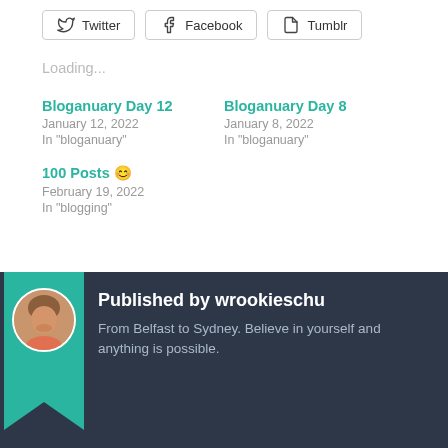[Figure (other): Row of social share buttons: Twitter, Facebook, Tumblr]
Loading...
Bloganuary Day 12
January 12, 2022
In "bloganuary"
Bloganuary Day 8
January 8, 2022
In "bloganuary"
100 Posts 😊
February 19, 2022
In "blogging"
[Figure (photo): Author avatar photo of a man]
Published by wrookieschu
From Belfast to Sydney. Believe in yourself and anything is possible.